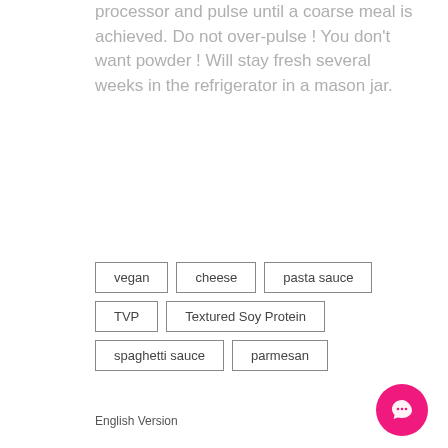processor and pulse until a coarse meal is achieved. Do not over-pulse ! You don't want powder ! Will stay fresh several weeks in the refrigerator in a mason jar.
vegan
cheese
pasta sauce
TVP
Textured Soy Protein
spaghetti sauce
parmesan
English Version